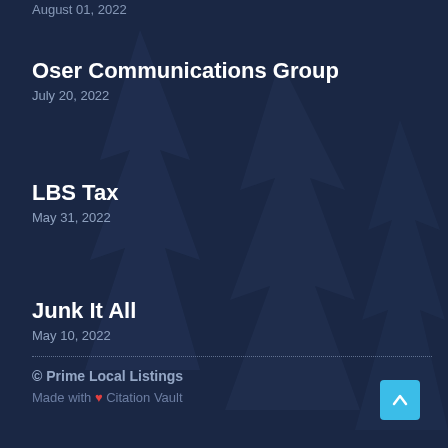August 01, 2022
Oser Communications Group
July 20, 2022
LBS Tax
May 31, 2022
Junk It All
May 10, 2022
© Prime Local Listings
Made with ❤ Citation Vault